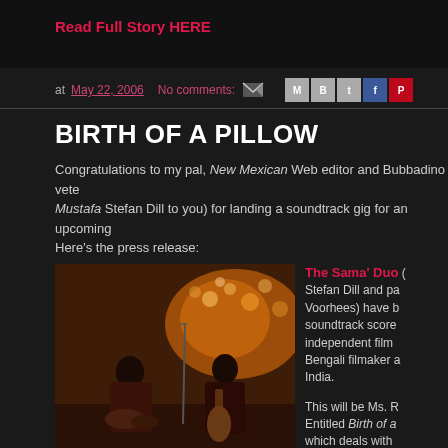Read Full Story HERE
at May 22, 2006   No comments:
BIRTH OF A PILLOW
Congratulations to my pal, New Mexican Web editor and Bubbadino vete Mustafa Stefan Dill to you) for landing a soundtrack gig for an upcoming Here's the press release:
[Figure (photo): Two musicians performing: one playing tabla drums on the left, one playing a stringed instrument on the right, with warm orange stage lighting]
The Sama' Duo (Stefan Dill and pa Voorhees) have b soundtrack score independent film Bengali filmaker a India.

This will be Ms. R Entitled Birth of a which deals with